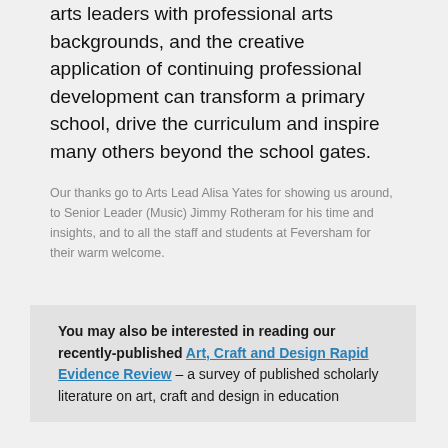arts leaders with professional arts backgrounds, and the creative application of continuing professional development can transform a primary school, drive the curriculum and inspire many others beyond the school gates.
Our thanks go to Arts Lead Alisa Yates for showing us around, to Senior Leader (Music) Jimmy Rotheram for his time and insights, and to all the staff and students at Feversham for their warm welcome.
You may also be interested in reading our recently-published Art, Craft and Design Rapid Evidence Review – a survey of published scholarly literature on art, craft and design in education